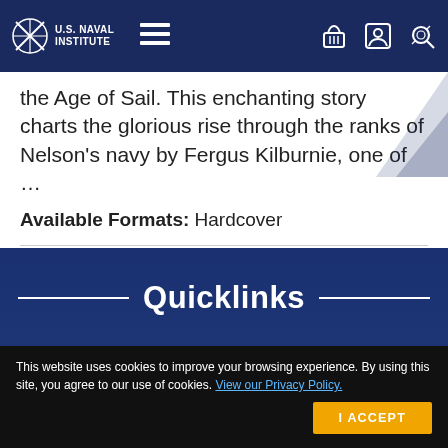U.S. Naval Institute
the Age of Sail. This enchanting story charts the glorious rise through the ranks of Nelson's navy by Fergus Kilburnie, one of …
Available Formats: Hardcover
Quicklinks
About the Naval Institute
This website uses cookies to improve your browsing experience. By using this site, you agree to our use of cookies. View our Privacy Policy.
I ACCEPT